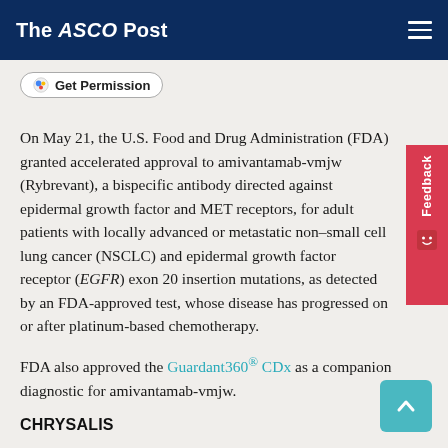The ASCO Post
[Figure (other): Get Permission button with colorful icon]
On May 21, the U.S. Food and Drug Administration (FDA) granted accelerated approval to amivantamab-vmjw (Rybrevant), a bispecific antibody directed against epidermal growth factor and MET receptors, for adult patients with locally advanced or metastatic non–small cell lung cancer (NSCLC) and epidermal growth factor receptor (EGFR) exon 20 insertion mutations, as detected by an FDA-approved test, whose disease has progressed on or after platinum-based chemotherapy.
FDA also approved the Guardant360® CDx as a companion diagnostic for amivantamab-vmjw.
CHRYSALIS
Approval was based on CHRYSALIS, a multicenter, nonrandomized, open label, multicohort clinical trial